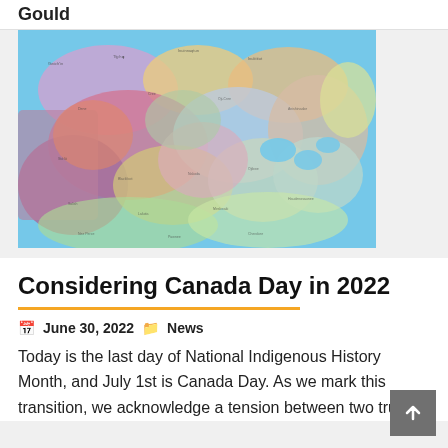Gould
[Figure (map): Colorful map of North America showing Indigenous territories and language groups, with regions in various colors (pink, purple, orange, green, yellow, blue) on a light blue background representing water bodies.]
Considering Canada Day in 2022
June 30, 2022  News
Today is the last day of National Indigenous History Month, and July 1st is Canada Day. As we mark this transition, we acknowledge a tension between two truths.